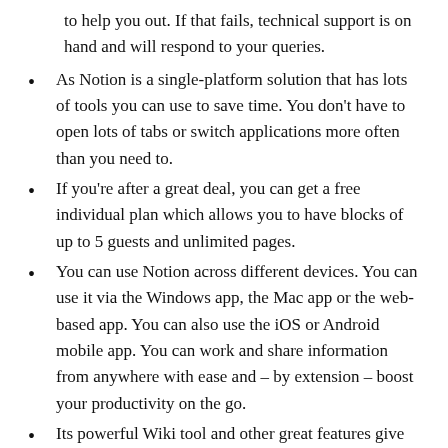to help you out. If that fails, technical support is on hand and will respond to your queries.
As Notion is a single-platform solution that has lots of tools you can use to save time. You don't have to open lots of tabs or switch applications more often than you need to.
If you're after a great deal, you can get a free individual plan which allows you to have blocks of up to 5 guests and unlimited pages.
You can use Notion across different devices. You can use it via the Windows app, the Mac app or the web-based app. You can also use the iOS or Android mobile app. You can work and share information from anywhere with ease and – by extension – boost your productivity on the go.
Its powerful Wiki tool and other great features give